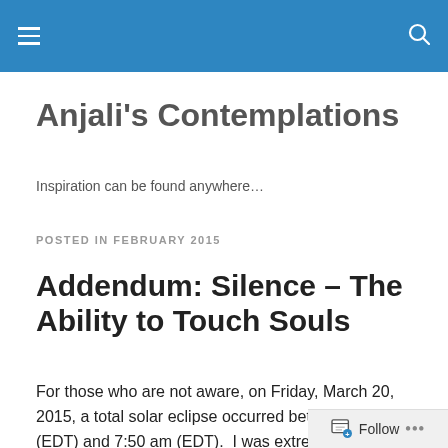Anjali's Contemplations [blog header bar with menu and search icons]
Anjali's Contemplations
Inspiration can be found anywhere…
POSTED IN FEBRUARY 2015
Addendum: Silence – The Ability to Touch Souls
For those who are not aware, on Friday, March 20, 2015, a total solar eclipse occurred between 5:45 am (EDT) and 7:50 am (EDT).  I was extremely lucky to watch this live